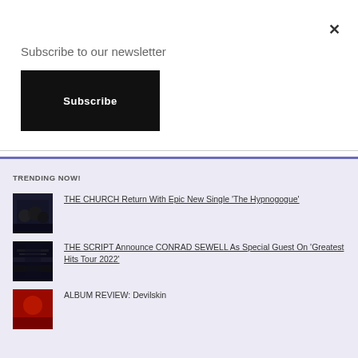Subscribe to our newsletter
Subscribe
×
TRENDING NOW!
THE CHURCH Return With Epic New Single 'The Hypnogogue'
THE SCRIPT Announce CONRAD SEWELL As Special Guest On 'Greatest Hits Tour 2022'
ALBUM REVIEW: Devilskin